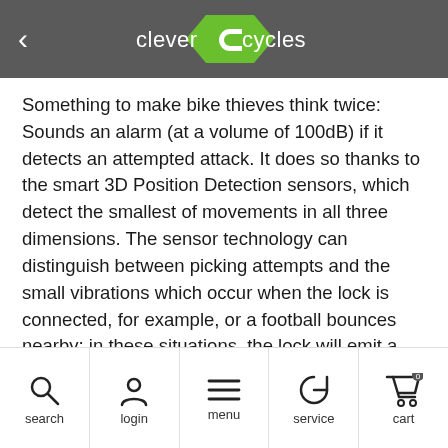clever cycles
Something to make bike thieves think twice: Sounds an alarm (at a volume of 100dB) if it detects an attempted attack. It does so thanks to the smart 3D Position Detection sensors, which detect the smallest of movements in all three dimensions. The sensor technology can distinguish between picking attempts and the small vibrations which occur when the lock is connected, for example, or a football bounces nearby; in these situations, the lock will emit a small warning beep but will not sound a full alarm. Acoustic signals provide information on battery level and activity status.
5 mm bars with extra-soft two-component casing to prevent damage to paintwork
The bars and body are made of specially hardened steel
search  login  menu  service  cart